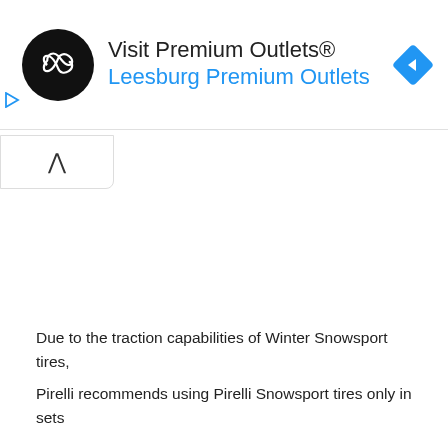[Figure (other): Advertisement banner for Visit Premium Outlets® — Leesburg Premium Outlets. Contains a black circular logo with infinity/loop symbol, blue navigation arrow diamond icon, and a play-button icon on the left side.]
[Figure (other): A collapse/minimize button showing an upward-pointing caret (^) in a rounded rectangle button.]
Due to the traction capabilities of Winter Snowsport tires, Pirelli recommends using Pirelli Snowsport tires only in sets